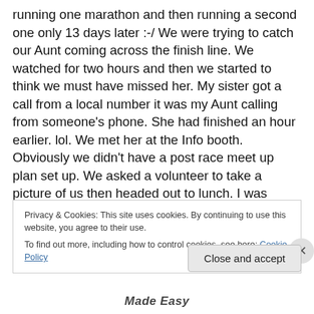running one marathon and then running a second one only 13 days later :-/ We were trying to catch our Aunt coming across the finish line. We watched for two hours and then we started to think we must have missed her. My sister got a call from a local number it was my Aunt calling from someone's phone. She had finished an hour earlier. lol. We met her at the Info booth. Obviously we didn't have a post race meet up plan set up. We asked a volunteer to take a picture of us then headed out to lunch. I was starving! I decided to have 1 slice of pesto pizza as a treat. Then it was time to drive home. I had to fight falling asleep
Privacy & Cookies: This site uses cookies. By continuing to use this website, you agree to their use.
To find out more, including how to control cookies, see here: Cookie Policy
Close and accept
Made Easy